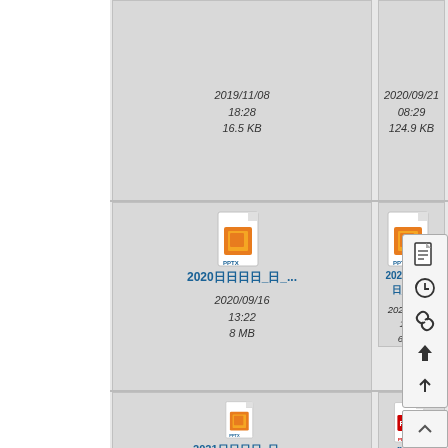[Figure (screenshot): File browser grid view showing PPTX and PDF file icons with dates and sizes. Top row shows two files: 2019/11/08 18:28 16.5 KB and 2020/09/21 08:29 124.9 KB. Middle row: 2020日程_日... (2020/09/16 13:22 8 MB) and 2021日程_日... (2021/09/23 11:00 66.1 KB). Bottom row: 2021日程_日... PPTX and a_floating... PDF. A context menu is overlaid on the right with icons for document, history, link, share, and up-arrow. A scroll-to-top button is at bottom right.]